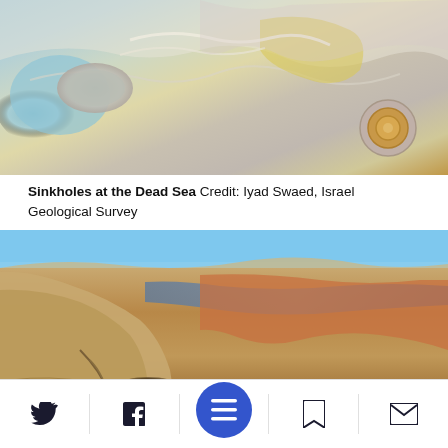[Figure (photo): Aerial view of sinkholes at the Dead Sea showing white salt deposits, turquoise water, yellow and grey rock formations with circular concentric patterns]
Sinkholes at the Dead Sea Credit: Iyad Swaed, Israel Geological Survey
[Figure (photo): Ground-level photo of rocky eroded terrain at the Dead Sea showing orange-brown cracked rock formations with a water channel running through the middle under a blue sky]